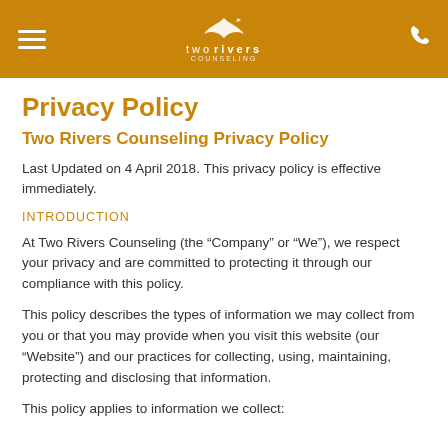two rivers
Privacy Policy
Two Rivers Counseling Privacy Policy
Last Updated on 4 April 2018. This privacy policy is effective immediately.
INTRODUCTION
At Two Rivers Counseling (the “Company” or “We”), we respect your privacy and are committed to protecting it through our compliance with this policy.
This policy describes the types of information we may collect from you or that you may provide when you visit this website (our “Website”) and our practices for collecting, using, maintaining, protecting and disclosing that information.
This policy applies to information we collect: